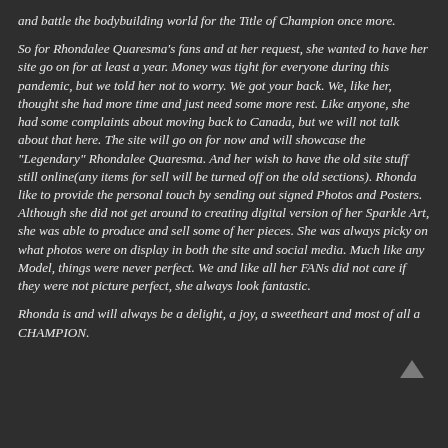and battle the bodybuilding world for the Title of Champion once more.
So for Rhondalee Quaresma's fans and at her request, she wanted to have her site go on for at least a year. Money was tight for everyone during this pandemic, but we told her not to worry. We got your back. We, like her, thought she had more time and just need some more rest. Like anyone, she had some complaints about moving back to Canada, but we will not talk about that here. The site will go on for now and will showcase the "Legendary" Rhondalee Quaresma. And her wish to have the old site stuff still online(any items for sell will be turned off on the old sections). Rhonda like to provide the personal touch by sending out signed Photos and Posters. Although she did not get around to creating digital version of her Sparkle Art, she was able to produce and sell some of her pieces. She was always picky on what photos were on display in both the site and social media. Much like any Model, things were never perfect. We and like all her FANs did not care if they were not picture perfect, she always look fantastic.
Rhonda is and will always be a delight, a joy, a sweetheart and most of all a CHAMPION.